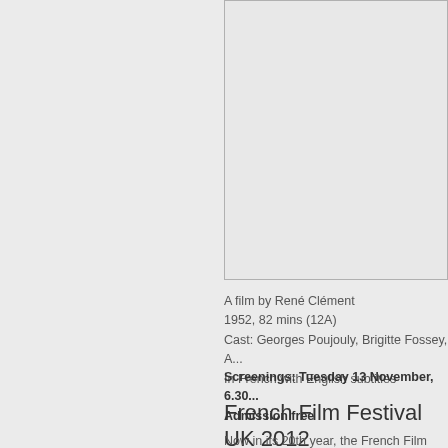[Figure (photo): Film poster or still image (partially visible, right half of page, upper portion)]
A film by René Clément
1952, 82 mins (12A)
Cast: Georges Poujouly, Brigitte Fossey, A...
In French with English subtitles
Screenings: Tuesday 13 November, 6.30...
Admission free
French Film Festival UK 2012
Now in its 20th year, the French Film Festi...